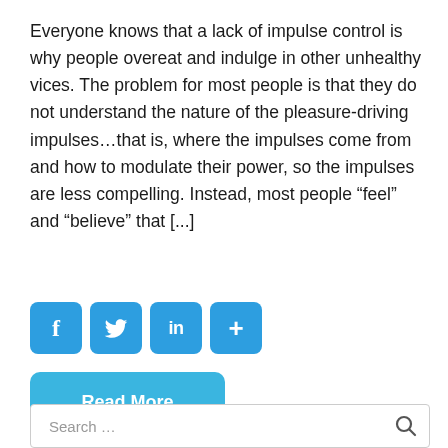Everyone knows that a lack of impulse control is why people overeat and indulge in other unhealthy vices. The problem for most people is that they do not understand the nature of the pleasure-driving impulses…that is, where the impulses come from and how to modulate their power, so the impulses are less compelling. Instead, most people “feel” and “believe” that [...]
[Figure (infographic): Four social media sharing buttons in blue: Facebook (f), Twitter (bird icon), LinkedIn (in), and a plus (+) share button]
Read More
Search ...